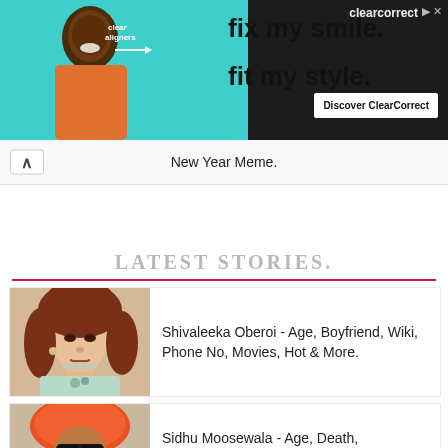[Figure (photo): ClearCorrect advertisement banner: person with clear aligners branding, text 'fix my smile. fit my style.' with Discover ClearCorrect button on dark background]
New Year Meme.
LATEST STORIES.
[Figure (photo): Photo of Shivaleeka Oberoi, a woman with curly brown hair wearing a light green outfit]
Shivaleeka Oberoi - Age, Boyfriend, Wiki, Phone No, Movies, Hot & More.
[Figure (photo): Photo of Sidhu Moosewala wearing an orange turban and sunglasses]
Sidhu Moosewala - Age, Death,